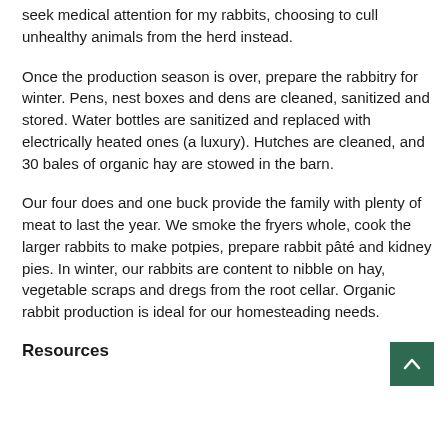seek medical attention for my rabbits, choosing to cull unhealthy animals from the herd instead.
Once the production season is over, prepare the rabbitry for winter. Pens, nest boxes and dens are cleaned, sanitized and stored. Water bottles are sanitized and replaced with electrically heated ones (a luxury). Hutches are cleaned, and 30 bales of organic hay are stowed in the barn.
Our four does and one buck provide the family with plenty of meat to last the year. We smoke the fryers whole, cook the larger rabbits to make potpies, prepare rabbit pâté and kidney pies. In winter, our rabbits are content to nibble on hay, vegetable scraps and dregs from the root cellar. Organic rabbit production is ideal for our homesteading needs.
Resources